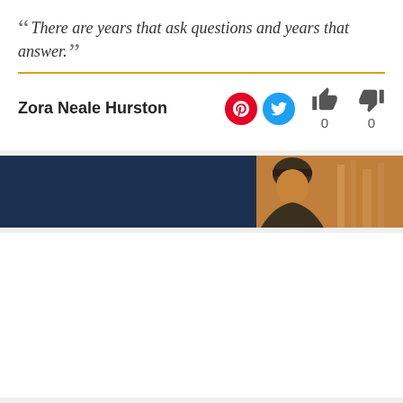“There are years that ask questions and years that answer.”
Zora Neale Hurston
[Figure (other): Banner with dark navy left panel and person photo on right side]
“I’m a gangster, and gangsters don’t ask questions.”